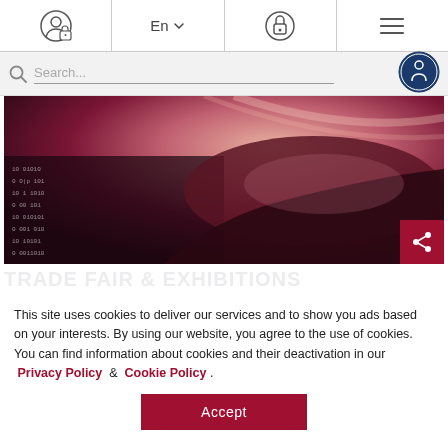Navigation bar with user icon, En language selector, lock/privacy icon, and hamburger menu
[Figure (screenshot): Search bar with magnifying glass icon and accessibility button on right]
[Figure (photo): Hero image showing a hand reaching over a surface with binary code (0s and 1s) with dark red/pink tones]
This site uses cookies to deliver our services and to show you ads based on your interests. By using our website, you agree to the use of cookies. You can find information about cookies and their deactivation in our Privacy Policy & Cookie Policy .
[Figure (other): Accept button for cookie consent]